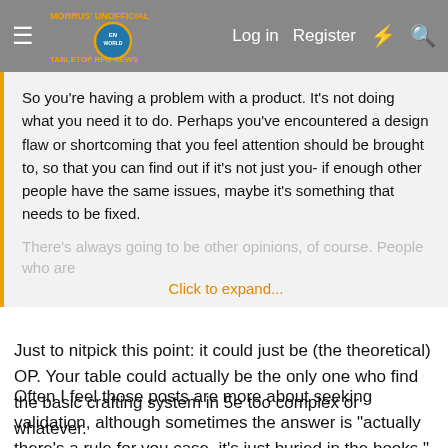Morrus' Unofficial Tabletop RPG News | Log in | Register
So you're having a problem with a product. It's not doing what you need it to do. Perhaps you've encountered a design flaw or shortcoming that you feel attention should be brought to, so that you can find out if it's not just you- if enough other people have the same issues, maybe it's something that needs to be fixed.
There's always going to be other opinions, of course. People who are Click to expand...
Just to nitpick this point: it could just be (the theoretical) OP. Your table could actually be the only one who find the basic crafting system in 5e too complex or whatever.
Often I feel those posts are more about seeking validation, although sometimes the answer is "actually there's a rule for you case, it's just buried in the books." (I see that one a lot in the PF2 fora than 5e, but it happens.)
On the other other hand - if OP is the only one who doesn't